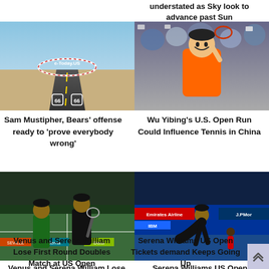understated as Sky look to advance past Sun
[Figure (photo): Route 66 road sign arch with desert highway, e-Today.US branding]
[Figure (photo): Wu Yibing smiling and celebrating at tennis match with crowd behind]
Sam Mustipher, Bears' offense ready to 'prove everybody wrong'
Wu Yibing's U.S. Open Run Could Influence Tennis in China
[Figure (photo): Venus and Serena Williams playing doubles at US Open, Serena in black outfit]
[Figure (photo): Serena Williams bowing at US Open with Emirates Airline and J.P.Morgan banners]
Venus and Serena William Lose First Round Doubles Match at US Open
Serena Williams US Open Tickets demand Keeps Going Up